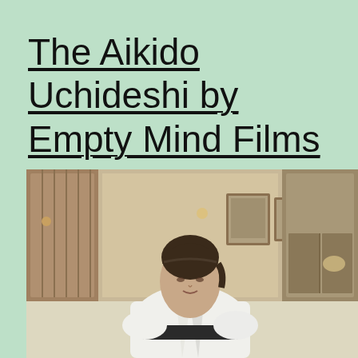The Aikido Uchideshi by Empty Mind Films
[Figure (photo): A woman wearing a white aikido gi and black hakama (belt) sits in a dojo setting, looking slightly upward and to the side with a slight smile. The background shows a traditional Japanese dojo interior with wooden panels, framed photos, and bamboo decorations.]